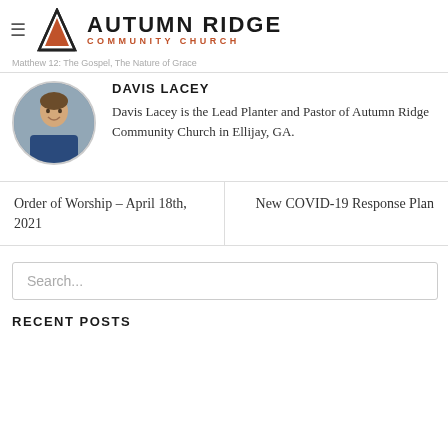Autumn Ridge Community Church
Matthew 12: The Gospel, The Nature of Grace
[Figure (photo): Circular portrait photo of Davis Lacey, a young man wearing a blue plaid shirt, smiling, in front of a stone wall background]
DAVIS LACEY
Davis Lacey is the Lead Planter and Pastor of Autumn Ridge Community Church in Ellijay, GA.
Order of Worship – April 18th, 2021
New COVID-19 Response Plan
Search...
RECENT POSTS